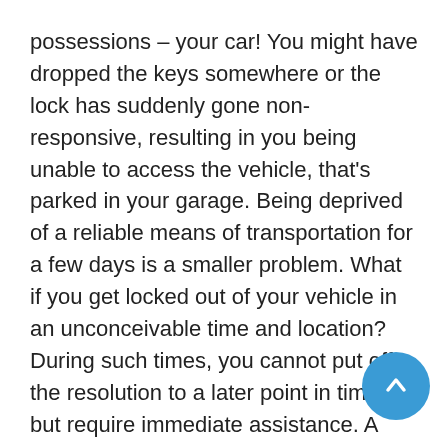possessions – your car! You might have dropped the keys somewhere or the lock has suddenly gone non-responsive, resulting in you being unable to access the vehicle, that's parked in your garage. Being deprived of a reliable means of transportation for a few days is a smaller problem. What if you get locked out of your vehicle in an unconceivable time and location? During such times, you cannot put off the resolution to a later point in time, but require immediate assistance. A towing service can only help you take your vehicle to a dealer or mechanic. But their availability is questionable, if you find yourself in need of help well past business hours. The solution: an automotive locksmith from Chicago City Locksmith.
With 24-hour availability, roadside assistance, mobile solutions and specialists for the job, we've set up our automotive locksmith division, in purview of the distinct lock & key requirements of vehicle owners. Over the years, we've only expanded, optimized and streamlined our work to provide our clients with exceptional service. From